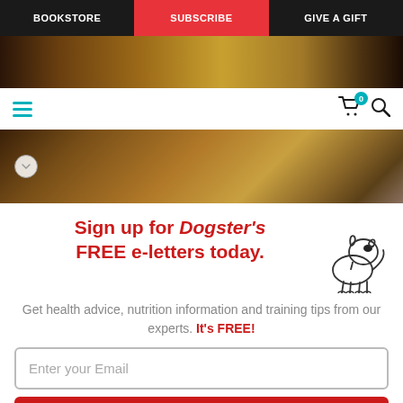BOOKSTORE | SUBSCRIBE | GIVE A GIFT
[Figure (screenshot): Website navigation bar with BOOKSTORE, SUBSCRIBE (highlighted red), GIVE A GIFT tabs]
[Figure (photo): Partial photo of a dog and a can of food on a tiled floor]
Sign up for Dogster's FREE e-letters today.
Get health advice, nutrition information and training tips from our experts. It's FREE!
[Figure (illustration): Line drawing illustration of a cartoon dog]
Enter your Email
YES! SIGN ME UP